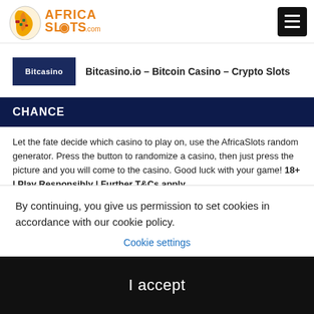Africa Slots .com
[Figure (logo): AfricaSlots.com logo with Africa continent graphic in orange/yellow/green]
Bitcasino.io – Bitcoin Casino – Crypto Slots
CHANCE
Let the fate decide which casino to play on, use the AfricaSlots random generator. Press the button to randomize a casino, then just press the picture and you will come to the casino. Good luck with your game! 18+ | Play Responsibly | Further T&Cs apply
Rufus Casino | Betting and Casino Africa
By continuing, you give us permission to set cookies in accordance with our cookie policy.
Cookie settings
I accept